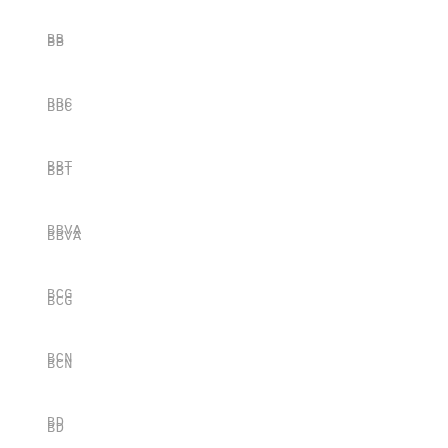BB
BBC
BBT
BBVA
BCG
BCN
BD
BE
BEATS
BEAUTY
BEER
BENTLEY
BERLIN
BEST
BESTBUY
BET
BE